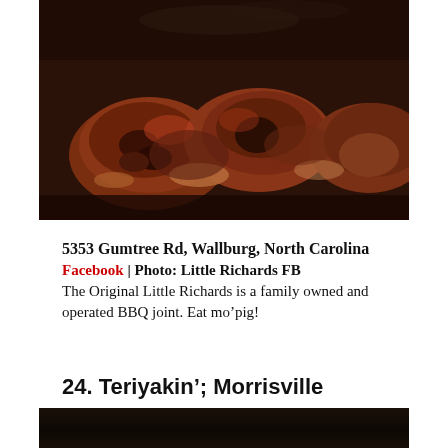[Figure (photo): Close-up photo of smoked BBQ meat (whole hog or ribs) cooking in a smoker, dark smoky environment with charred and glazed meat pieces visible]
5353 Gumtree Rd, Wallburg, North Carolina
Facebook | Photo: Little Richards FB
The Original Little Richards is a family owned and operated BBQ joint. Eat mo’pig!
24. Teriyakin’; Morrisville
[Figure (photo): Partial photo of another restaurant dish, dark background, cut off at bottom of page]